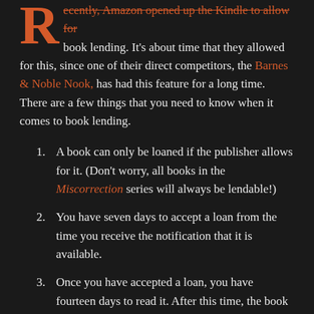Recently, Amazon opened up the Kindle to allow for book lending. It's about time that they allowed for this, since one of their direct competitors, the Barnes & Noble Nook, has had this feature for a long time. There are a few things that you need to know when it comes to book lending.
1. A book can only be loaned if the publisher allows for it. (Don't worry, all books in the Miscorrection series will always be lendable!)
2. You have seven days to accept a loan from the time you receive the notification that it is available.
3. Once you have accepted a loan, you have fourteen days to read it. After this time, the book will be